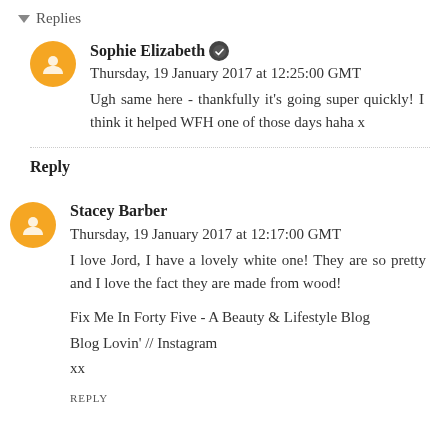▾ Replies
Sophie Elizabeth ✔ Thursday, 19 January 2017 at 12:25:00 GMT
Ugh same here - thankfully it's going super quickly! I think it helped WFH one of those days haha x
Reply
Stacey Barber  Thursday, 19 January 2017 at 12:17:00 GMT
I love Jord, I have a lovely white one! They are so pretty and I love the fact they are made from wood!
Fix Me In Forty Five - A Beauty & Lifestyle Blog
Blog Lovin' // Instagram
xx
REPLY